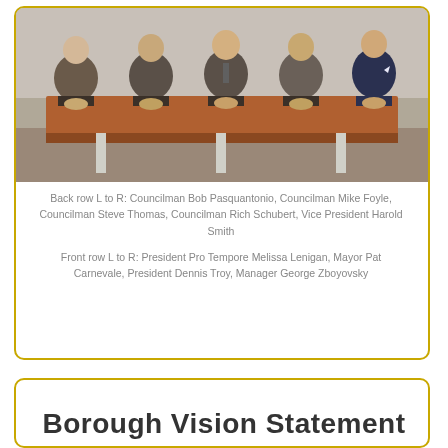[Figure (photo): A group photo of borough council members and officials seated at a wooden table in formal attire. Five people visible in back row, additional people in front.]
Back row L to R: Councilman Bob Pasquantonio, Councilman Mike Foyle, Councilman Steve Thomas, Councilman Rich Schubert, Vice President Harold Smith
Front row L to R: President Pro Tempore Melissa Lenigan, Mayor Pat Carnevale, President Dennis Troy, Manager George Zboyovsky
Borough Vision Statement